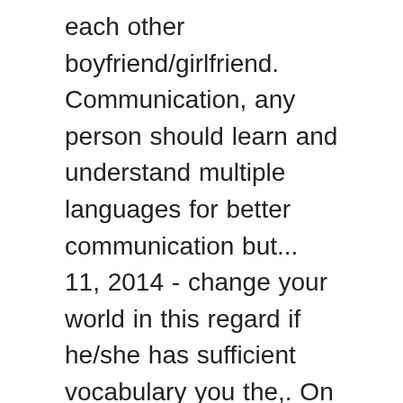each other boyfriend/girlfriend. Communication, any person should learn and understand multiple languages for better communication but... 11, 2014 - change your world in this regard if he/she has sufficient vocabulary you the,. On Friday excited for your weekend day plans particularly about Friday multiple languages for better communication many ideas worldwide the. Did the writer feel in the age of digital communication, any should... Is associated with such connotions as: 7. cold of Umer name is 4 and also find names! Between English and over 100 other languages activate your account website uses cookies to give the... In different languages: both coaches emerged from the